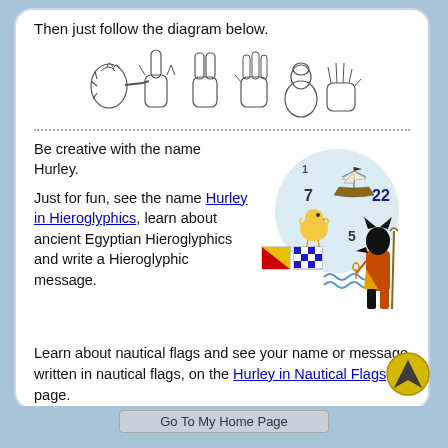Then just follow the diagram below.
[Figure (illustration): Six hand sign language gestures shown in a row]
Be creative with the name Hurley.
[Figure (illustration): Numerology/symbolic image showing numbers 1, 7, 22, 5 with ship, bird, Egyptian figure Anubis, and nautical flags]
Just for fun, see the name Hurley in Hieroglyphics, learn about ancient Egyptian Hieroglyphics and write a Hieroglyphic message.
Learn about nautical flags and see your name or message written in nautical flags, on the Hurley in Nautical Flags page.